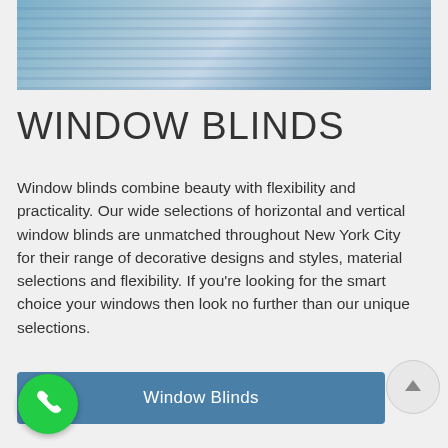[Figure (photo): Interior room scene with window blinds, blue tones, showing a bathtub or desk area with plants and lighting]
WINDOW BLINDS
Window blinds combine beauty with flexibility and practicality. Our wide selections of horizontal and vertical window blinds are unmatched throughout New York City for their range of decorative designs and styles, material selections and flexibility. If you're looking for the smart choice your windows then look no further than our unique selections.
Window Blinds
[Figure (illustration): Scroll-to-top button (circle with upward arrow) on the right side]
[Figure (illustration): Green circular phone/call button in bottom left corner]